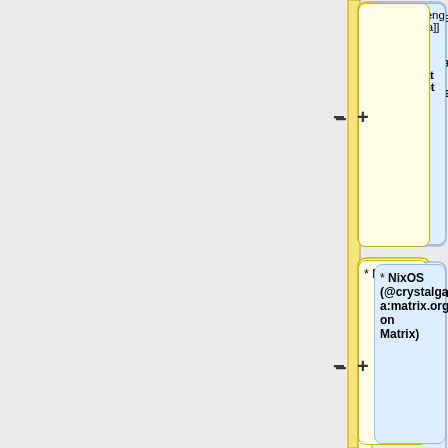[Figure (other): Wiki diff view showing additions and removals in a document. Left side (yellow boxes) shows removed content, right side (blue boxes) shows added content. Rows show: 1) Removed blank, Added: ([[User:Isengaara|Isengaara]] and Ile-bout (email: Ile-bout at zaclys dot net)); 2) Removed: * NixOS, Added: * NixOS (@crystalgamma:matrix.org on Matrix); 3) Removed: * GuixSD ([[User:Isengaara|Isengaara]]), Added: blank; 4) Added: == External Links ==; 5) Added: blank; 6) Added: * [http://bgafc.t-hosting.hu/oses4ppc.php Operating]